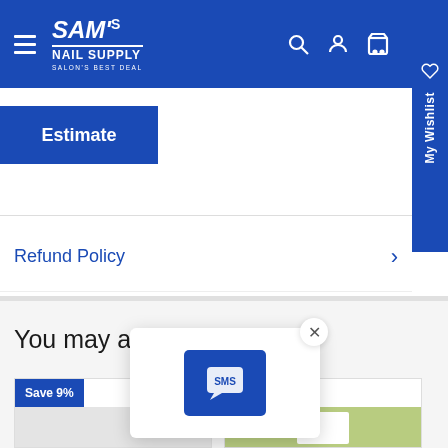SAM's NAIL SUPPLY — SALON'S BEST DEAL
Estimate
Refund Policy
You may also like
[Figure (screenshot): Product card with 'Save 9%' badge and SMS popup overlay with close button]
[Figure (screenshot): Product card with 'Save 31%' badge showing green-background product image]